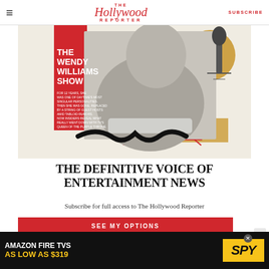The Hollywood Reporter — SUBSCRIBE
[Figure (illustration): The Wendy Williams Show magazine cover with black and white photo of Wendy Williams, red and gold graphic design elements, text: THE WENDY WILLIAMS SHOW, FOR 12 YEARS, SHE WAS ONE OF DAYTIME'S MOST SINGULAR PERSONALITIES. THEN SHE WAS GONE, REPLACED BY A STRING OF GUEST HOSTS AMID TABLOID RUMORS. NOW INSIDERS REVEAL WHAT REALLY WENT DOWN WITH TV'S QUEEN OF THE PURPLE THRONE.]
THE DEFINITIVE VOICE OF ENTERTAINMENT NEWS
Subscribe for full access to The Hollywood Reporter
SEE MY OPTIONS
[Figure (advertisement): Amazon Fire TVs ad: AMAZON FIRE TVS AS LOW AS $319, SPY logo on yellow background]